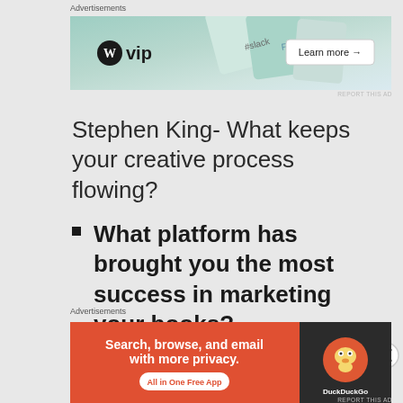Advertisements
[Figure (screenshot): WordPress VIP advertisement banner with colorful cards (Slack, Facebook) and a 'Learn more →' button]
Stephen King- What keeps your creative process flowing?
What platform has brought you the most success in marketing your books?
Word of mouth, and direct sales at
Advertisements
[Figure (screenshot): DuckDuckGo advertisement: 'Search, browse, and email with more privacy. All in One Free App' with DuckDuckGo logo on dark background]